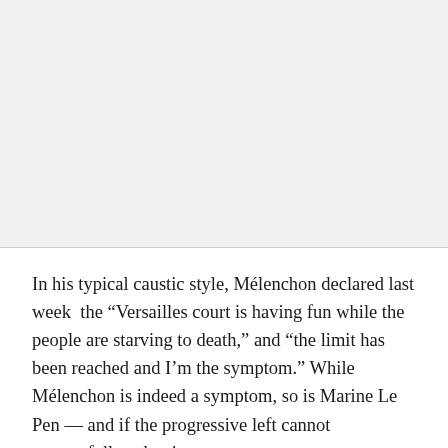[Figure (other): Gray placeholder image area above the text content]
In his typical caustic style, Mélenchon declared last week  the “Versailles court is having fun while the people are starving to death,” and “the limit has been reached and I’m the symptom.” While Mélenchon is indeed a symptom, so is Marine Le Pen — and if the progressive left cannot successfully usher in a post-